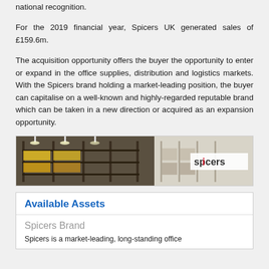national recognition.
For the 2019 financial year, Spicers UK generated sales of £159.6m.
The acquisition opportunity offers the buyer the opportunity to enter or expand in the office supplies, distribution and logistics markets. With the Spicers brand holding a market-leading position, the buyer can capitalise on a well-known and highly-regarded reputable brand which can be taken in a new direction or acquired as an expansion opportunity.
[Figure (photo): Warehouse interior with shelving and goods, with Spicers logo on the right side]
Available Assets
Spicers Brand
Spicers is a market-leading, long-standing office